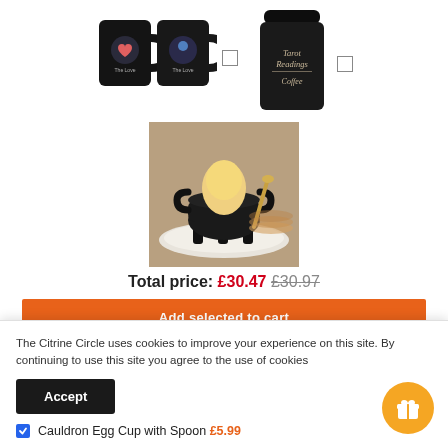[Figure (photo): Two black tarot-themed mugs side by side with a checkbox to their right]
[Figure (photo): Black travel coffee cup labeled 'Tarot Readings Coffee' with a checkbox to its right]
[Figure (photo): Cauldron egg cup with spoon holding a boiled egg on a white plate]
Total price: £30.47 £30.97
Add selected to cart
The Citrine Circle uses cookies to improve your experience on this site. By continuing to use this site you agree to the use of cookies
Accept
Cauldron Egg Cup with Spoon £5.99